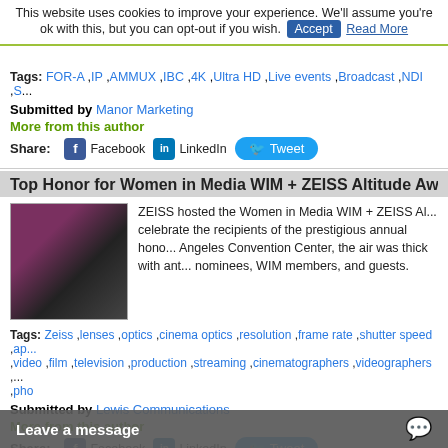This website uses cookies to improve your experience. We'll assume you're ok with this, but you can opt-out if you wish. Accept Read More
Tags: FOR-A ,IP ,AMMUX ,IBC ,4K ,Ultra HD ,Live events ,Broadcast ,NDI ,S...
Submitted by Manor Marketing
More from this author
Share: Facebook LinkedIn Tweet
Top Honor for Women in Media WIM + ZEISS Altitude Awards Goes to...
[Figure (photo): Group of women posing at the Women in Media WIM + ZEISS Altitude Awards event]
ZEISS hosted the Women in Media WIM + ZEISS Al... celebrate the recipients of the prestigious annual hono... Angeles Convention Center, the air was thick with ant... nominees, WIM members, and guests.
Tags: Zeiss ,lenses ,optics ,cinema optics ,resolution ,frame rate ,shutter speed ,ap... ,video ,film ,television ,production ,streaming ,cinematographers ,videographers ,... ,pho
Submitted by Lewis Communications
More from this author
Share: Facebook LinkedIn Tweet
Wooden Camera Will Showcase New Custom Fujifilm Kits and Accesso... Expo